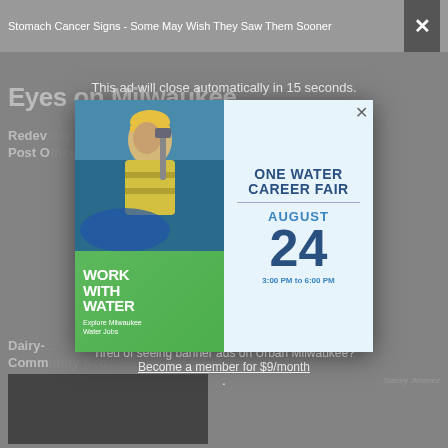Stomach Cancer Signs - Some May Wish They Saw Them Sooner
This ad will close automatically in 15 seconds.
Eyes on Milwaukee
Redevelopment ... Post Office ...
[Figure (illustration): Advertisement modal for One Water Career Fair. Left half shows a photo of a worker in a yellow safety vest with surveying equipment, and a green panel with bold white text: WORK WITH WATER / Explore Milwaukee Water Jobs. Right half on light blue background shows: ONE WATER CAREER FAIR / AUGUST 24 / 3:00 PM to 6:00 PM]
Tired of seeing banner ads on Urban Milwaukee? Become a member for $9/month.
Dairy-... Community Acq...
[Figure (photo): Partially visible article photo below the modal]